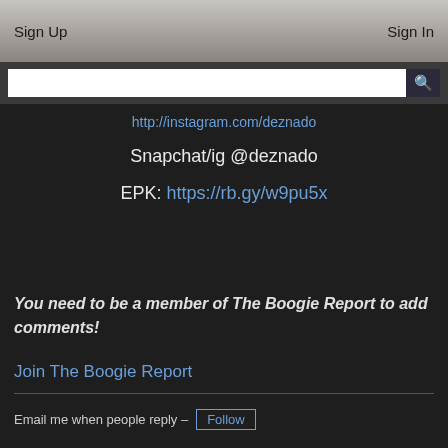Sign Up    Sign In
http://instagram.com/deznado
Snapchat/ig @deznado
EPK: https://rb.gy/w9pu5x
You need to be a member of The Boogie Report to add comments!
Join The Boogie Report
Email me when people reply – Follow